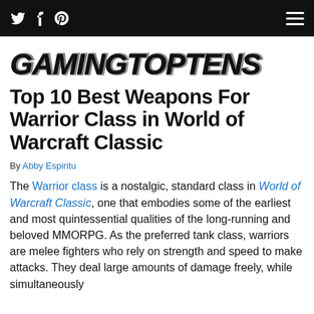Twitter Facebook Pinterest [hamburger menu]
[Figure (logo): GamingTopTens logo in bold stylized black text on white background]
Top 10 Best Weapons For Warrior Class in World of Warcraft Classic
By Abby Espiritu
The Warrior class is a nostalgic, standard class in World of Warcraft Classic, one that embodies some of the earliest and most quintessential qualities of the long-running and beloved MMORPG. As the preferred tank class, warriors are melee fighters who rely on strength and speed to make attacks. They deal large amounts of damage freely, while simultaneously